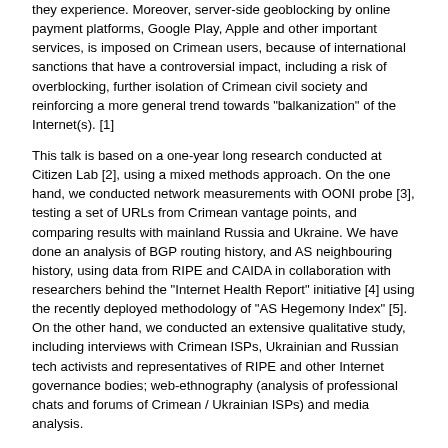they experience. Moreover, server-side geoblocking by online payment platforms, Google Play, Apple and other important services, is imposed on Crimean users, because of international sanctions that have a controversial impact, including a risk of overblocking, further isolation of Crimean civil society and reinforcing a more general trend towards "balkanization" of the Internet(s). [1]
This talk is based on a one-year long research conducted at Citizen Lab [2], using a mixed methods approach. On the one hand, we conducted network measurements with OONI probe [3], testing a set of URLs from Crimean vantage points, and comparing results with mainland Russia and Ukraine. We have done an analysis of BGP routing history, and AS neighbouring history, using data from RIPE and CAIDA in collaboration with researchers behind the "Internet Health Report" initiative [4] using the recently deployed methodology of "AS Hegemony Index" [5]. On the other hand, we conducted an extensive qualitative study, including interviews with Crimean ISPs, Ukrainian and Russian tech activists and representatives of RIPE and other Internet governance bodies; web-ethnography (analysis of professional chats and forums of Crimean / Ukrainian ISPs) and media analysis.
We will briefly introduce the context of annexation from the point of view of Internet infrastructure, show an interactive timeline of events that have impacted Crimean Internet ecosystem. Then we will focus on the case of "Infrastructure interregnum", where Ukrainian and Russian traffic co-existed for a while. We will share our infographics, including video animation that demonstrates progressive "wiring" of Crimea to "Russian Internet". On the case of several Ukrainian ISPs we will show how routing